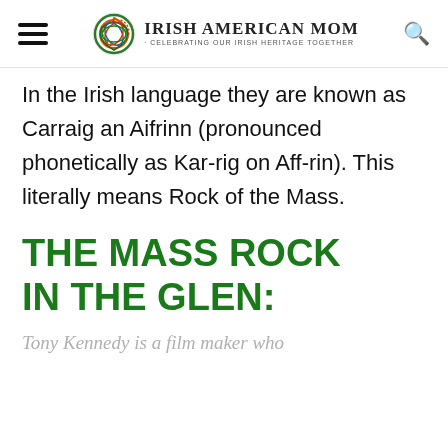Irish American Mom - Celebrating Our Irish Heritage Together
In the Irish language they are known as Carraig an Aifrinn (pronounced phonetically as Kar-rig on Aff-rin). This literally means Rock of the Mass.
THE MASS ROCK IN THE GLEN:
Tony Kennedy is a film maker who